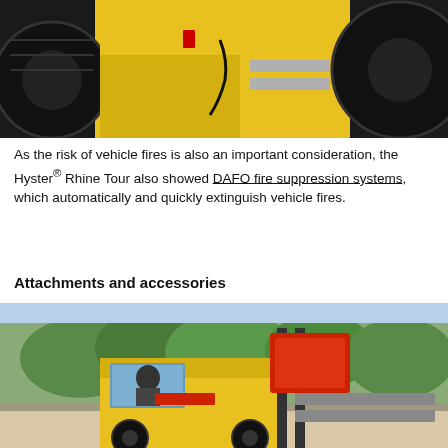[Figure (photo): Close-up photo of a yellow Hyster forklift showing a red fire suppression cylinder and diamond-plate step with large black tires visible]
As the risk of vehicle fires is also an important consideration, the Hyster® Rhine Tour also showed DAFO fire suppression systems, which automatically and quickly extinguish vehicle fires.
Attachments and accessories
[Figure (photo): Photo of a yellow Hyster forklift with red attachment/fork equipment raised, with trees and a wall visible in the background]